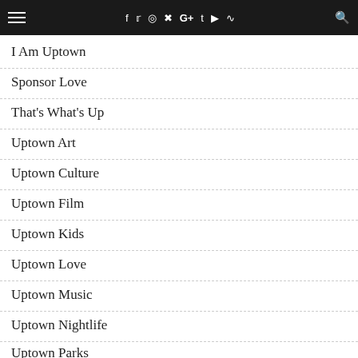Navigation bar with hamburger menu, social icons (f, twitter, instagram, pinterest, G+, tumblr, youtube, rss), and search icon
I Am Uptown
Sponsor Love
That's What's Up
Uptown Art
Uptown Culture
Uptown Film
Uptown Kids
Uptown Love
Uptown Music
Uptown Nightlife
Uptown Parks
Uptown Real Estate